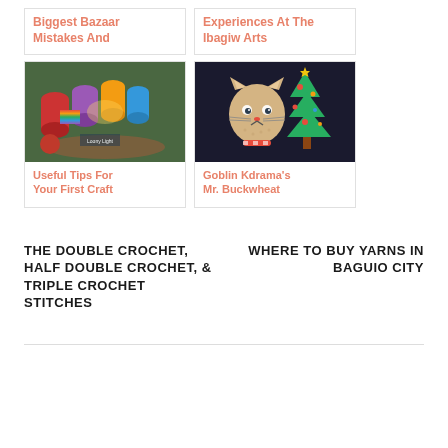Biggest Bazaar Mistakes And
Experiences At The Ibagiw Arts
[Figure (photo): Colorful yarn rolls and craft supplies at a bazaar stall]
Useful Tips For Your First Craft
[Figure (photo): Crochet doll resembling Mr. Buckwheat from Goblin Kdrama with a Christmas tree decoration]
Goblin Kdrama's Mr. Buckwheat
THE DOUBLE CROCHET, HALF DOUBLE CROCHET, & TRIPLE CROCHET STITCHES
WHERE TO BUY YARNS IN BAGUIO CITY